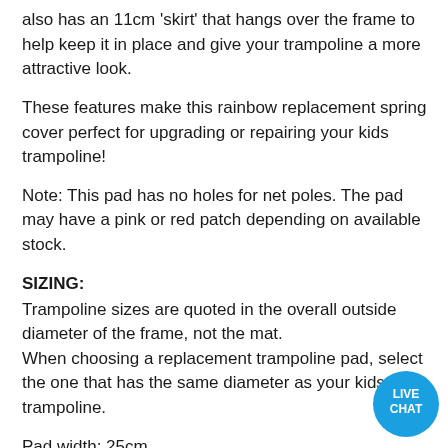also has an 11cm 'skirt' that hangs over the frame to help keep it in place and give your trampoline a more attractive look.
These features make this rainbow replacement spring cover perfect for upgrading or repairing your kids trampoline!
Note: This pad has no holes for net poles. The pad may have a pink or red patch depending on available stock.
SIZING:
Trampoline sizes are quoted in the overall outside diameter of the frame, not the mat.
When choosing a replacement trampoline pad, select the one that has the same diameter as your kids trampoline.
Pad width: 25cm
PLEASE CHOOSE YOUR PRODUCT CAREFULLY.
Incorrectly purchased items will only be accepted for credit if they are returned to us at the buyers' expense, in